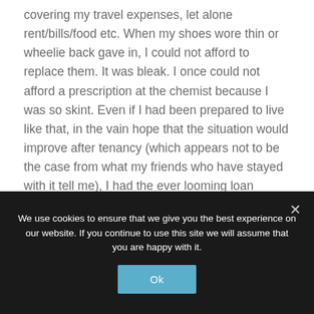covering my travel expenses, let alone rent/bills/food etc. When my shoes wore thin or wheelie back gave in, I could not afford to replace them. It was bleak. I once could not afford a prescription at the chemist because I was so skint. Even if I had been prepared to live like that, in the vain hope that the situation would improve after tenancy (which appears not to be the case from what my friends who have stayed with it tell me), I had the ever looming loan repayments hanging over my head. So knowing that a year after my
We use cookies to ensure that we give you the best experience on our website. If you continue to use this site we will assume that you are happy with it.